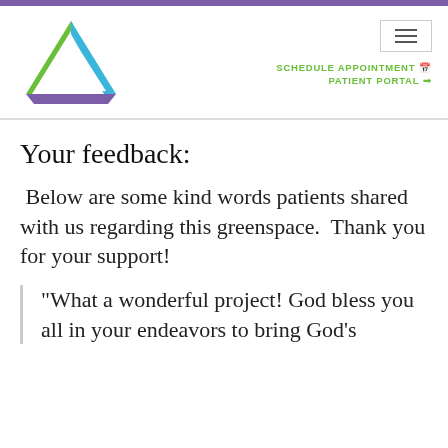[Figure (logo): Triangle-shaped logo with green, blue, and purple sides]
SCHEDULE APPOINTMENT 🗓
PATIENT PORTAL ➡
Your feedback:
Below are some kind words patients shared with us regarding this greenspace.  Thank you for your support!
"What a wonderful project! God bless you all in your endeavors to bring God's